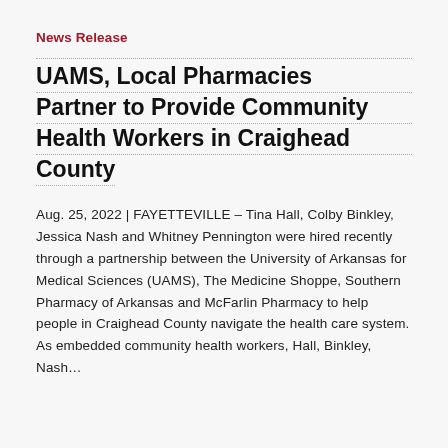News Release
UAMS, Local Pharmacies Partner to Provide Community Health Workers in Craighead County
Aug. 25, 2022 | FAYETTEVILLE – Tina Hall, Colby Binkley, Jessica Nash and Whitney Pennington were hired recently through a partnership between the University of Arkansas for Medical Sciences (UAMS), The Medicine Shoppe, Southern Pharmacy of Arkansas and McFarlin Pharmacy to help people in Craighead County navigate the health care system. As embedded community health workers, Hall, Binkley, Nash…